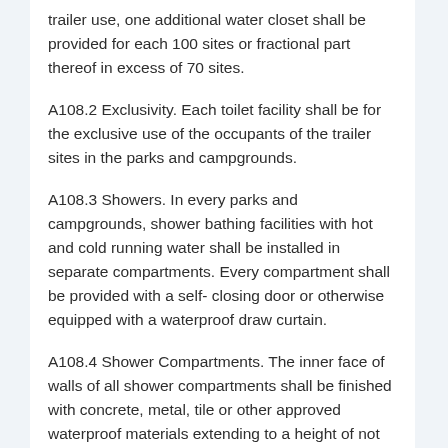trailer use, one additional water closet shall be provided for each 100 sites or fractional part thereof in excess of 70 sites.
A108.2 Exclusivity. Each toilet facility shall be for the exclusive use of the occupants of the trailer sites in the parks and campgrounds.
A108.3 Showers. In every parks and campgrounds, shower bathing facilities with hot and cold running water shall be installed in separate compartments. Every compartment shall be provided with a self- closing door or otherwise equipped with a waterproof draw curtain.
A108.4 Shower Compartments. The inner face of walls of all shower compartments shall be finished with concrete, metal, tile or other approved waterproof materials extending to a height of not less than six foot above the floor.